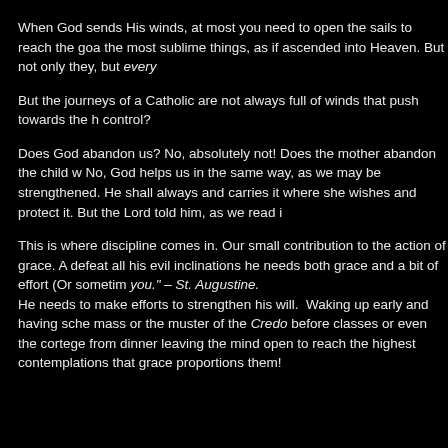When God sends His winds, at most you need to open the sails to reach the goa the most sublime things, as if ascended into Heaven. But not only they, but every
But the journeys of a Catholic are not always full of winds that push towards the h control?
Does God abandon us? No, absolutely not! Does the mother abandon the child w No, God helps us in the same way, as we may be strengthened. He shall always and carries it where she wishes and protect it. But the Lord told him, as we read i
This is where discipline comes in. Our small contribution to the action of grace. A defeat all his evil inclinations he needs both grace and a bit of effort (Or sometim you." – St. Augustine.
He needs to make efforts to strengthen his will. Waking up early and having sche mass or the muster of the Credo before classes or even the cortege from dinner leaving the mind open to reach the highest contemplations that grace proportions them!